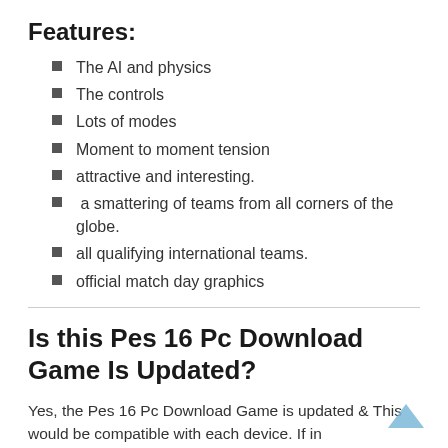Features:
The AI and physics
The controls
Lots of modes
Moment to moment tension
attractive and interesting.
a smattering of teams from all corners of the globe.
all qualifying international teams.
official match day graphics
Is this Pes 16 Pc Download Game Is Updated?
Yes, the Pes 16 Pc Download Game is updated & This would be compatible with each device. If in